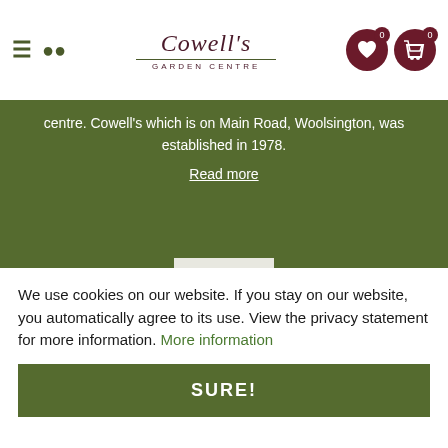Cowell's Garden Centre
centre. Cowell's which is on Main Road, Woolsington, was established in 1978.
Read more
[Figure (logo): Google G logo in a light square box on green background]
Opening hours
| Day | Hours |
| --- | --- |
| Monday | 09:00 - 17:00 |
| Tuesday | 09:00 - 17:00 |
| Wednesday | 09:00 - 17:00 |
We use cookies on our website. If you stay on our website, you automatically agree to its use. View the privacy statement for more information. More information
SURE!